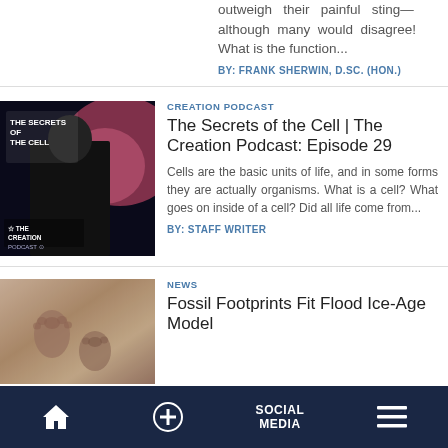outweigh their painful sting—although many would disagree! What is the function...
BY: FRANK SHERWIN, D.SC. (HON.)
[Figure (photo): Podcast thumbnail showing woman looking into microscope with text 'The Secrets of the Cell | The Creation Podcast' on dark background with pink cellular imagery]
CREATION PODCAST
The Secrets of the Cell | The Creation Podcast: Episode 29
Cells are the basic units of life, and in some forms they are actually organisms. What is a cell? What goes on inside of a cell? Did all life come from...
BY: STAFF WRITER
[Figure (photo): Close-up photo of fossil footprints in sandy/muddy ground]
NEWS
Fossil Footprints Fit Flood Ice-Age Model
Home | + | SOCIAL MEDIA | Menu